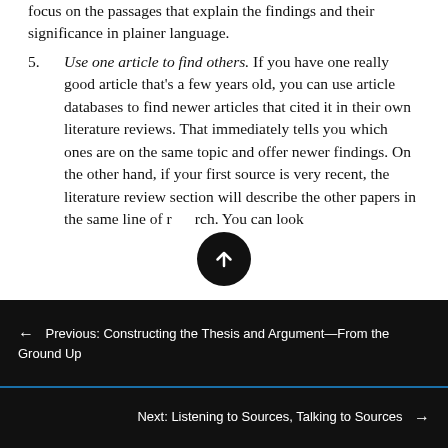focus on the passages that explain the findings and their significance in plainer language.
Use one article to find others. If you have one really good article that's a few years old, you can use article databases to find newer articles that cited it in their own literature reviews. That immediately tells you which ones are on the same topic and offer newer findings. On the other hand, if your first source is very recent, the literature review section will describe the other papers in the same line of research. You can look through citing them
← Previous: Constructing the Thesis and Argument—From the Ground Up
Next: Listening to Sources, Talking to Sources →